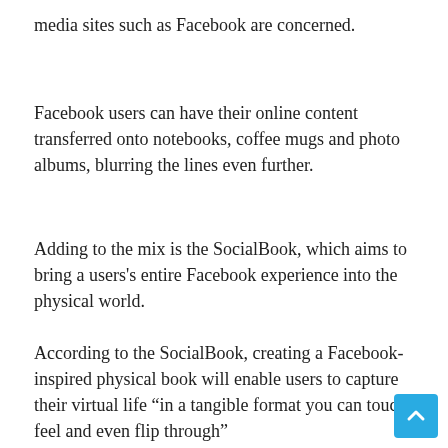media sites such as Facebook are concerned.
Facebook users can have their online content transferred onto notebooks, coffee mugs and photo albums, blurring the lines even further.
Adding to the mix is the SocialBook, which aims to bring a users's entire Facebook experience into the physical world.
According to the SocialBook, creating a Facebook-inspired physical book will enable users to capture their virtual life “in a tangible format you can touch, feel and even flip through”